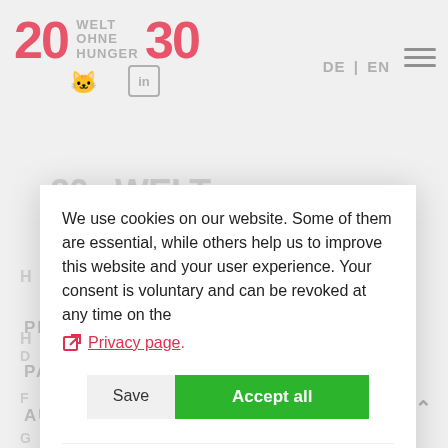[Figure (logo): 20 Welt ohne Hunger 30 organization logo with red numbers and grey text, LinkedIn icon]
DE | EN
[Figure (infographic): Hamburger menu icon (three horizontal lines)]
We use cookies on our website. Some of them are essential, while others help us to improve this website and your user experience. Your consent is voluntary and can be revoked at any time on the Privacy page.
Save
Accept all
Standard
Analytics
Third party content
Cookies that
We use Matomo
PROJECTS
PARTNERS
AUTHORS